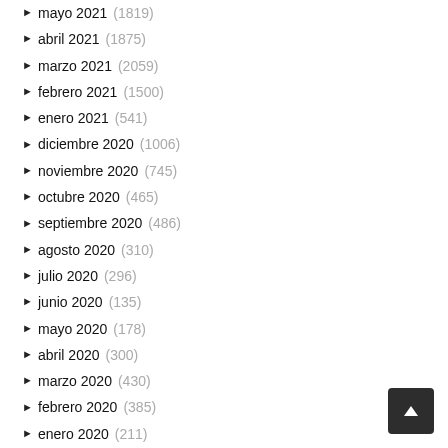mayo 2021 (1819)
abril 2021 (1875)
marzo 2021 (2059)
febrero 2021 (1500)
enero 2021 (541)
diciembre 2020 (1006)
noviembre 2020 (745)
octubre 2020 (465)
septiembre 2020 (486)
agosto 2020 (310)
julio 2020 (296)
junio 2020 (135)
mayo 2020 (178)
abril 2020 (300)
marzo 2020 (430)
febrero 2020 (385)
enero 2020 (211)
diciembre 2019 (8)
noviembre 2019 (6)